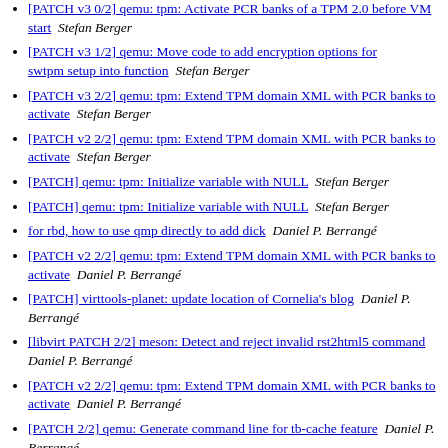[PATCH v3 0/2] qemu: tpm: Activate PCR banks of a TPM 2.0 before VM start  Stefan Berger
[PATCH v3 1/2] qemu: Move code to add encryption options for swtpm setup into function  Stefan Berger
[PATCH v3 2/2] qemu: tpm: Extend TPM domain XML with PCR banks to activate  Stefan Berger
[PATCH v2 2/2] qemu: tpm: Extend TPM domain XML with PCR banks to activate  Stefan Berger
[PATCH] qemu: tpm: Initialize variable with NULL  Stefan Berger
[PATCH] qemu: tpm: Initialize variable with NULL  Stefan Berger
for rbd, how to use qmp directly to add dick  Daniel P. Berrangé
[PATCH v2 2/2] qemu: tpm: Extend TPM domain XML with PCR banks to activate  Daniel P. Berrangé
[PATCH] virttools-planet: update location of Cornelia's blog  Daniel P. Berrangé
[libvirt PATCH 2/2] meson: Detect and reject invalid rst2html5 command  Daniel P. Berrangé
[PATCH v2 2/2] qemu: tpm: Extend TPM domain XML with PCR banks to activate  Daniel P. Berrangé
[PATCH 2/2] qemu: Generate command line for tb-cache feature  Daniel P. Berrangé
[PATCH 1/2] conf: Introduce TCG domain features  Daniel